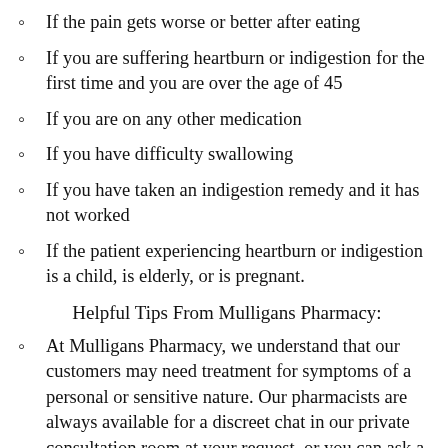If the pain gets worse or better after eating
If you are suffering heartburn or indigestion for the first time and you are over the age of 45
If you are on any other medication
If you have difficulty swallowing
If you have taken an indigestion remedy and it has not worked
If the patient experiencing heartburn or indigestion is a child, is elderly, or is pregnant.
Helpful Tips From Mulligans Pharmacy:
At Mulligans Pharmacy, we understand that our customers may need treatment for symptoms of a personal or sensitive nature. Our pharmacists are always available for a discreet chat in our private consultation room at your request, or you can ask a Mulligans Pharmacist a question in confidence here